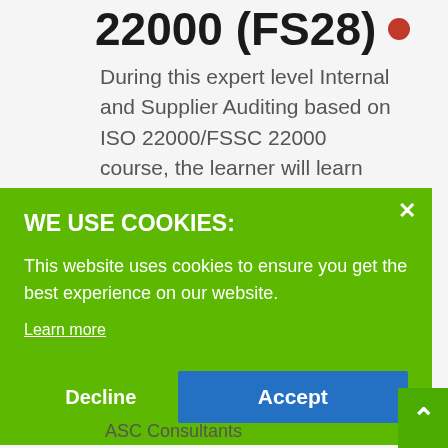22000 (FS28)
During this expert level Internal and Supplier Auditing based on ISO 22000/FSSC 22000 course, the learner will learn how to become an
WE USE COOKIES:
This website uses cookies to ensure you get the best experience on our website.
Learn more
Decline
Accept
ASC Consultants